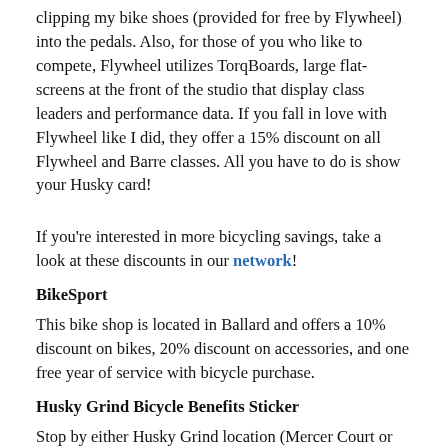clipping my bike shoes (provided for free by Flywheel) into the pedals. Also, for those of you who like to compete, Flywheel utilizes TorqBoards, large flat-screens at the front of the studio that display class leaders and performance data. If you fall in love with Flywheel like I did, they offer a 15% discount on all Flywheel and Barre classes. All you have to do is show your Husky card!
If you're interested in more bicycling savings, take a look at these discounts in our network!
BikeSport
This bike shop is located in Ballard and offers a 10% discount on bikes, 20% discount on accessories, and one free year of service with bicycle purchase.
Husky Grind Bicycle Benefits Sticker
Stop by either Husky Grind location (Mercer Court or District Market) to purchase the sticker for $5. Place the sticker on your helmet and receive a 10% discount on all orders when you show it off.